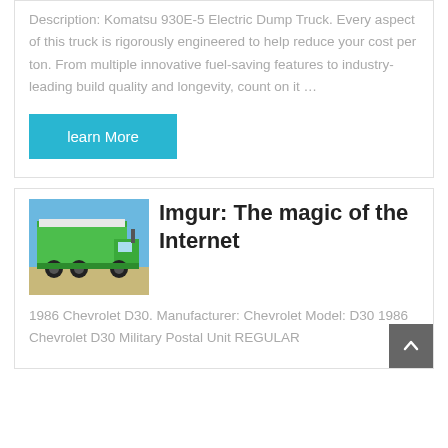Description: Komatsu 930E-5 Electric Dump Truck. Every aspect of this truck is rigorously engineered to help reduce your cost per ton. From multiple innovative fuel-saving features to industry-leading build quality and longevity, count on it …
learn More
[Figure (photo): Green dump truck viewed from behind, parked on a road with blue sky background]
Imgur: The magic of the Internet
1986 Chevrolet D30. Manufacturer: Chevrolet Model: D30 1986 Chevrolet D30 Military Postal Unit REGULAR